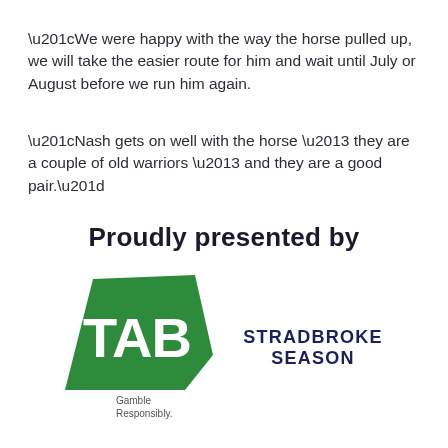“We were happy with the way the horse pulled up, we will take the easier route for him and wait until July or August before we run him again.
“Nash gets on well with the horse – they are a couple of old warriors – and they are a good pair.”
Proudly presented by
[Figure (logo): TAB logo - green parallelogram shape with white TAB text, with 'Gamble Responsibly.' text below]
[Figure (logo): Stradbroke Season logo in dark navy bold uppercase text]